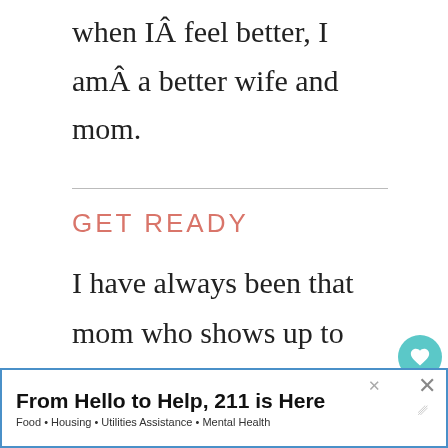when IÂ feel better, I amÂ a better wife and mom.
GET READY
I have always been that mom who shows up to pick up my kids AFTERÂ school, still wearing my pajamas (yes, at 3:30 pm). Most days don't leave the house (except the kids to school and back), so I
[Figure (other): Social sidebar with heart/like button showing count 6 and a share icon]
[Figure (other): What's Next promotional box with image and text 'Am I doing this MOM...']
[Figure (other): Advertisement banner: 'From Hello to Help, 211 is Here' with subtext 'Food · Housing · Utilities Assistance · Mental Health']